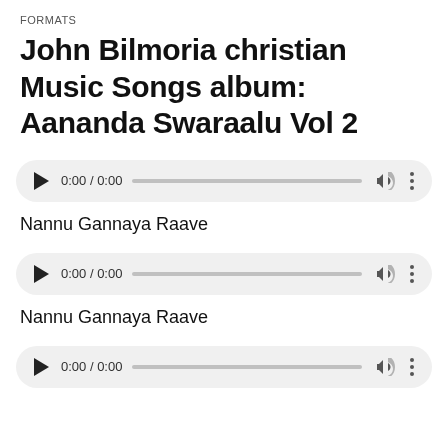FORMATS
John Bilmoria christian Music Songs album: Aananda Swaraalu Vol 2
[Figure (screenshot): Audio player control showing 0:00 / 0:00 with play button, progress bar, volume, and menu icons]
Nannu Gannaya Raave
[Figure (screenshot): Audio player control showing 0:00 / 0:00 with play button, progress bar, volume, and menu icons]
Nannu Gannaya Raave
[Figure (screenshot): Audio player control showing 0:00 / 0:00 with play button, progress bar, volume, and menu icons (partially visible)]